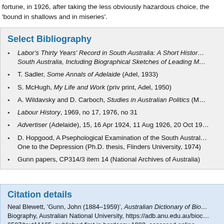fortune, in 1926, after taking the less obviously hazardous choice, the 'bound in shallows and in miseries'.
Select Bibliography
Labor's Thirty Years' Record in South Australia: A Short History of South Australia, Including Biographical Sketches of Leading M…
T. Sadler, Some Annals of Adelaide (Adel, 1933)
S. McHugh, My Life and Work (priv print, Adel, 1950)
A. Wildavsky and D. Carboch, Studies in Australian Politics (M…
Labour History, 1969, no 17, 1976, no 31
Advertiser (Adelaide), 15, 16 Apr 1924, 11 Aug 1926, 20 Oct 19…
D. Hopgood, A Psephological Examination of the South Austral… One to the Depression (Ph.D. thesis, Flinders University, 1974)
Gunn papers, CP314/3 item 14 (National Archives of Australia)
Citation details
Neal Blewett, 'Gunn, John (1884–1959)', Australian Dictionary of Bio… Biography, Australian National University, https://adb.anu.edu.au/bioc… 6507/text11165, published first in hardcopy 1983, accessed online…